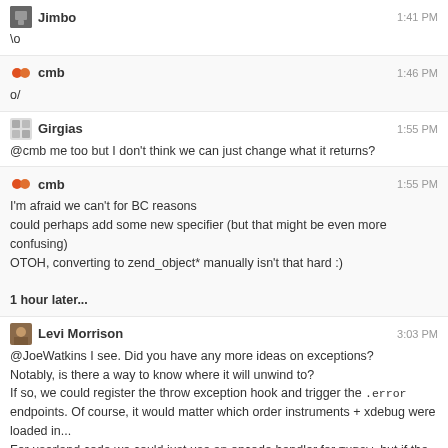Jimbo  1:41 PM
\o
cmb  1:46 PM
o/
Girgias  1:55 PM
@cmb me too but I don't think we can just change what it returns?
cmb  1:55 PM
I'm afraid we can't for BC reasons
could perhaps add some new specifier (but that might be even more confusing)
OTOH, converting to zend_object* manually isn't that hard :)
1 hour later...
Levi Morrison  3:03 PM
@JoeWatkins I see. Did you have any more ideas on exceptions?
Notably, is there a way to know where it will unwind to?
If so, we could register the throw exception hook and trigger the .error endpoints. Of course, it would matter which order instruments + xdebug were loaded in...
For userland code we could just use an opcode handler for THROW, but if the throw originates from an internal call (e.g. PDO) then we'd need still need to handle it.
Do we really need the CFG? I was just thinking that after skipping RECV, we'd change the first opcode, then we'd just inspect the rest for RETURN/RETURN_BY_REF. Although, what happens if there is only one opcode because it's a no-op?
function noop(...$args) {}